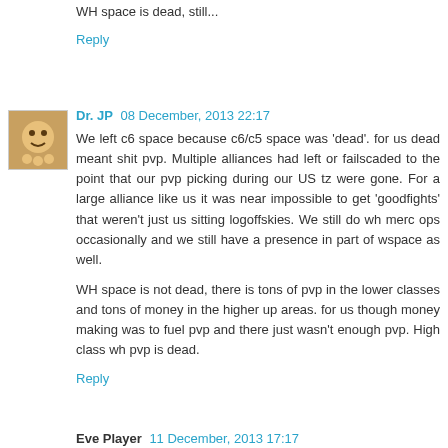WH space is dead, still...
Reply
Dr. JP  08 December, 2013 22:17
We left c6 space because c6/c5 space was 'dead'. for us dead meant shit pvp. Multiple alliances had left or failscaded to the point that our pvp picking during our US tz were gone. For a large alliance like us it was near impossible to get 'goodfights' that weren't just us sitting logoffskies. We still do wh merc ops occasionally and we still have a presence in part of wspace as well.
WH space is not dead, there is tons of pvp in the lower classes and tons of money in the higher up areas. for us though money making was to fuel pvp and there just wasn't enough pvp. High class wh pvp is dead.
Reply
Eve Player  11 December, 2013 17:17